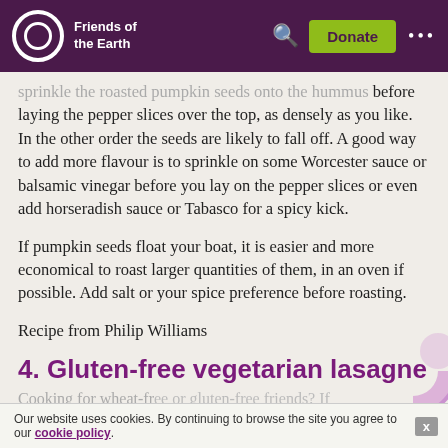Friends of the Earth
sprinkle the roasted pumpkin seeds onto the hummus before laying the pepper slices over the top, as densely as you like. In the other order the seeds are likely to fall off. A good way to add more flavour is to sprinkle on some Worcester sauce or balsamic vinegar before you lay on the pepper slices or even add horseradish sauce or Tabasco for a spicy kick.
If pumpkin seeds float your boat, it is easier and more economical to roast larger quantities of them, in an oven if possible. Add salt or your spice preference before roasting.
Recipe from Philip Williams
4. Gluten-free vegetarian lasagne
Cooking for wheat-free or gluten-free friends? If
Our website uses cookies. By continuing to browse the site you agree to our cookie policy.